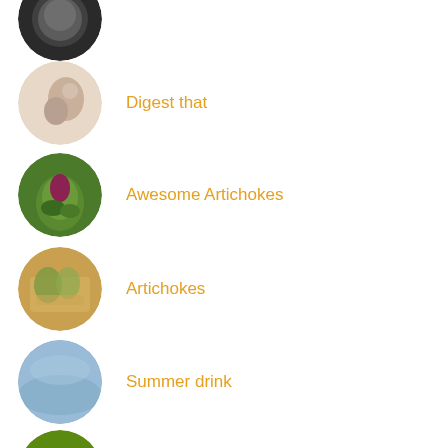[Figure (photo): Circular thumbnail: food/soup dish on dark background (partially cropped at top)]
Digest that
[Figure (photo): Circular thumbnail: person touching ear/face, light background]
Awesome Artichokes
[Figure (photo): Circular thumbnail: artichoke vegetable, green leaves]
Artichokes
[Figure (photo): Circular thumbnail: artichokes/vegetables with yellow tones]
Summer drink
[Figure (photo): Circular thumbnail: blue/gray water or sky]
broccolo
[Figure (photo): Circular thumbnail: bright green romanesco broccoli]
Really? Pasta with...?!
[Figure (photo): Circular thumbnail: statue/sculpture fountain]
meat dishes
[Figure (photo): Circular thumbnail: meat dish (partially cropped at bottom)]